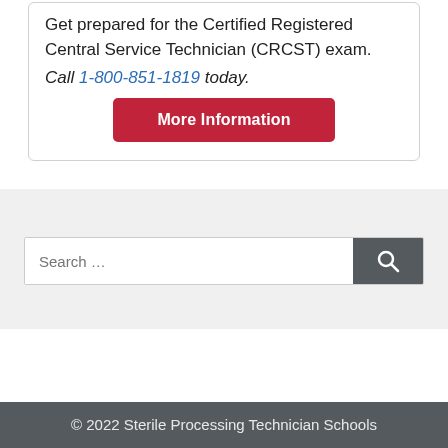Get prepared for the Certified Registered Central Service Technician (CRCST) exam.
Call 1-800-851-1819 today.
More Information
Search …
© 2022 Sterile Processing Technician Schools